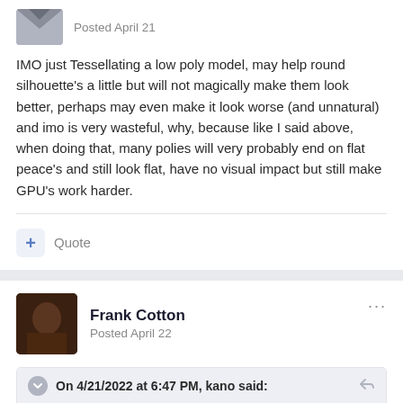Posted April 21
IMO just Tessellating a low poly model, may help round silhouette's a little but will not magically make them look better, perhaps may even make it look worse (and unnatural) and imo is very wasteful, why, because like I said above, when doing that, many polies will very probably end on flat peace's and still look flat, have no visual impact but still make GPU's work harder.
Quote
Frank Cotton
Posted April 22
On 4/21/2022 at 6:47 PM, kano said:
original model files